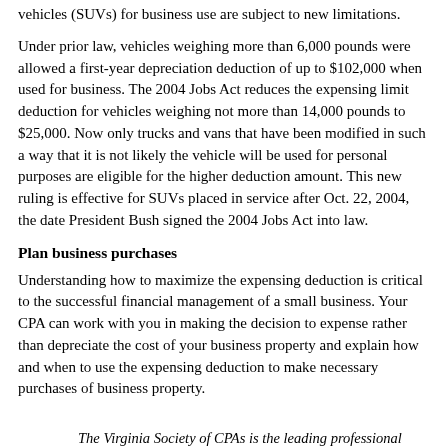vehicles (SUVs) for business use are subject to new limitations.
Under prior law, vehicles weighing more than 6,000 pounds were allowed a first-year depreciation deduction of up to $102,000 when used for business. The 2004 Jobs Act reduces the expensing limit deduction for vehicles weighing not more than 14,000 pounds to $25,000. Now only trucks and vans that have been modified in such a way that it is not likely the vehicle will be used for personal purposes are eligible for the higher deduction amount. This new ruling is effective for SUVs placed in service after Oct. 22, 2004, the date President Bush signed the 2004 Jobs Act into law.
Plan business purchases
Understanding how to maximize the expensing deduction is critical to the successful financial management of a small business. Your CPA can work with you in making the decision to expense rather than depreciate the cost of your business property and explain how and when to use the expensing deduction to make necessary purchases of business property.
The Virginia Society of CPAs is the leading professional association dedicated to enhancing the success of all CPAs and their profession by…